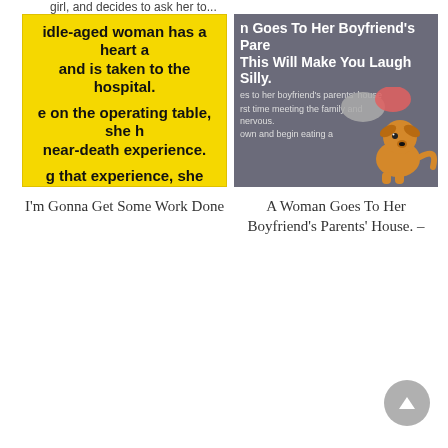girl, and decides to ask her to...
[Figure (screenshot): Yellow background image with bold black text showing fragments: 'idle-aged woman has a heart a and is taken to the hospital.', 'e on the operating table, she h near-death experience.', 'g that experience, she sees Go asks if this is it.', 'says NO and explains that she']
I'm Gonna Get Some Work Done
[Figure (screenshot): Dark grey/purple background image with white bold text: 'n Goes To Her Boyfriend's Pare This Will Make You Laugh Silly.' with smaller text fragments and a cartoon dog illustration with speech bubbles]
A Woman Goes To Her Boyfriend's Parents' House. –